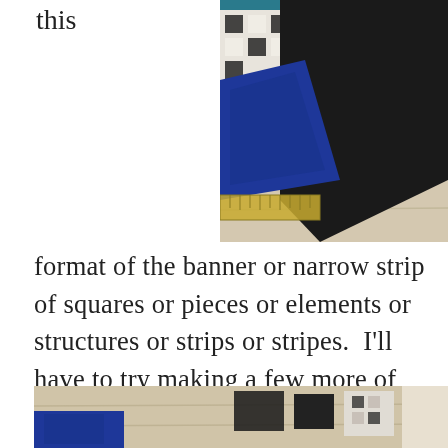this
[Figure (photo): Top-right photo showing fabric pieces including black, blue, and patterned textiles laid out on a light wood surface with a ruler visible]
format of the banner or narrow strip of squares or pieces or elements or structures or strips or stripes.  I'll have to try making a few more of these to be sure.  But it turned out well, in this case, with the blue and the black/gold fabric contrasting heavily with one another, and the cosmic and peacock colors emerging as details and accents rather than as the focus of the piece.
[Figure (photo): Bottom photo showing fabric pieces on a wood table including blue fabric and other patterned textiles]